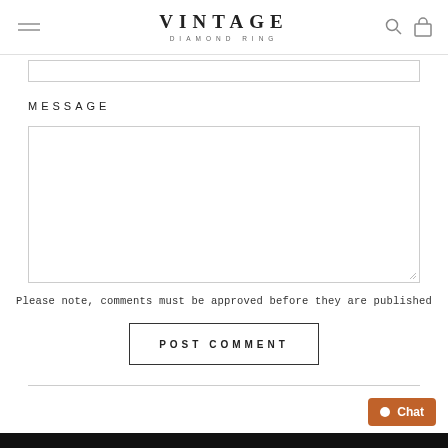VINTAGE DIAMOND RING
MESSAGE
Please note, comments must be approved before they are published
POST COMMENT